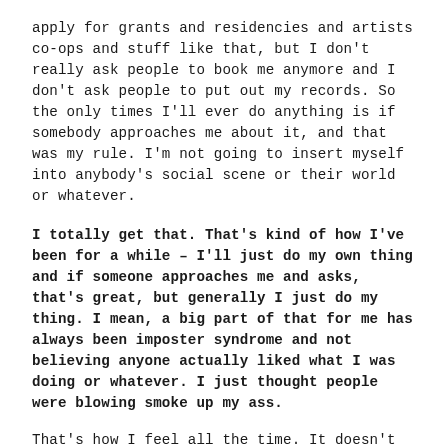apply for grants and residencies and artists co-ops and stuff like that, but I don't really ask people to book me anymore and I don't ask people to put out my records. So the only times I'll ever do anything is if somebody approaches me about it, and that was my rule. I'm not going to insert myself into anybody's social scene or their world or whatever.
I totally get that. That's kind of how I've been for a while – I'll just do my own thing and if someone approaches me and asks, that's great, but generally I just do my thing. I mean, a big part of that for me has always been imposter syndrome and not believing anyone actually liked what I was doing or whatever. I just thought people were blowing smoke up my ass.
That's how I feel all the time. It doesn't feel good.